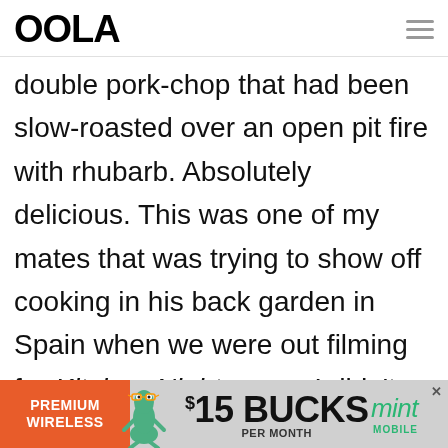OOLA
double pork-chop that had been slow-roasted over an open pit fire with rhubarb. Absolutely delicious. This was one of my mates that was trying to show off cooking in his back garden in Spain when we were out filming for Kitchen Nightmares. I didn't think it was going to work, to
[Figure (infographic): Advertisement banner for Mint Mobile: orange left panel with PREMIUM WIRELESS text, cartoon gecko mascot, $15 BUCKS PER MONTH text, Mint Mobile logo in green]